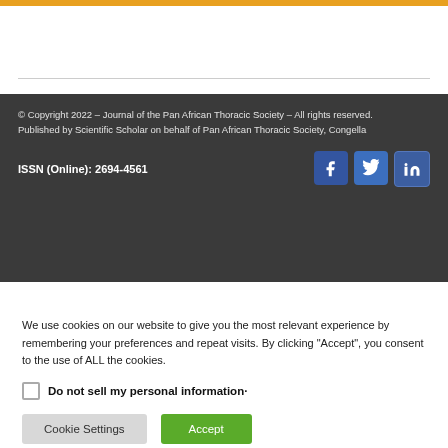© Copyright 2022 – Journal of the Pan African Thoracic Society – All rights reserved.
Published by Scientific Scholar on behalf of Pan African Thoracic Society, Congella

ISSN (Online): 2694-4561
We use cookies on our website to give you the most relevant experience by remembering your preferences and repeat visits. By clicking "Accept", you consent to the use of ALL the cookies.
Do not sell my personal information